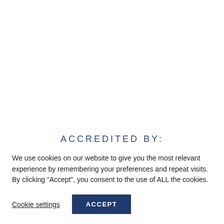ACCREDITED BY:
We use cookies on our website to give you the most relevant experience by remembering your preferences and repeat visits. By clicking “Accept”, you consent to the use of ALL the cookies.
Cookie settings
ACCEPT